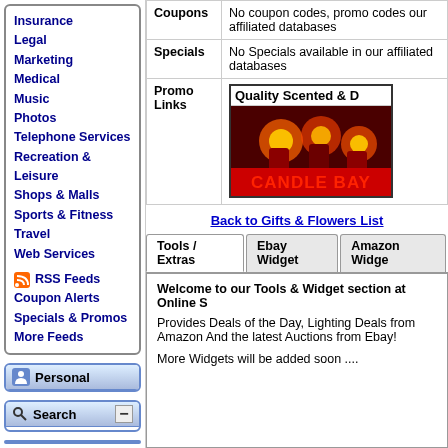Insurance
Legal
Marketing
Medical
Music
Photos
Telephone Services
Recreation & Leisure
Shops & Malls
Sports & Fitness
Travel
Web Services
RSS Feeds
Coupon Alerts
Specials & Promos
More Feeds
Personal
Login
Sign up
Search
Web counters
|  | Hits | Visitors |
| --- | --- | --- |
| Today | 27,113 | 23,212 |
| Yesterday | 31,662 | 28,046 |
|  |  |
| --- | --- |
| Coupons | No coupon codes, promo codes our affiliated databases |
| Specials | No Specials available in our affiliated databases |
| Promo Links | Quality Scented & D [CANDLE BAY promo image] |
Back to Gifts & Flowers List
Tools / Extras | Ebay Widget | Amazon Widget
Welcome to our Tools & Widget section at Online S
Provides Deals of the Day, Lighting Deals from Amazon And the latest Auctions from Ebay!
More Widgets will be added soon ....